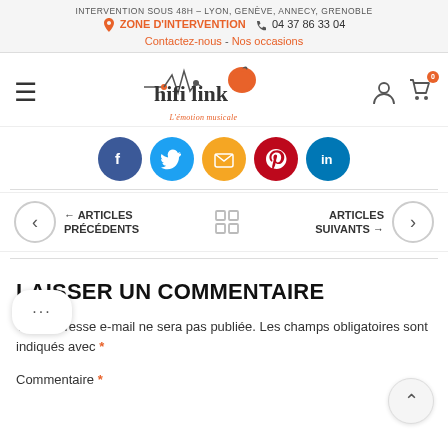INTERVENTION SOUS 48H – LYON, GENÈVE, ANNECY, GRENOBLE
ZONE D'INTERVENTION  04 37 86 33 04
Contactez-nous - Nos occasions
[Figure (logo): hifi link logo with tagline L'émotion musicale]
[Figure (infographic): Social share buttons: Facebook, Twitter, Email, Pinterest, LinkedIn]
← ARTICLES PRÉCÉDENTS   [grid]   ARTICLES SUIVANTS →
LAISSER UN COMMENTAIRE
Votre adresse e-mail ne sera pas publiée. Les champs obligatoires sont indiqués avec *
Commentaire *